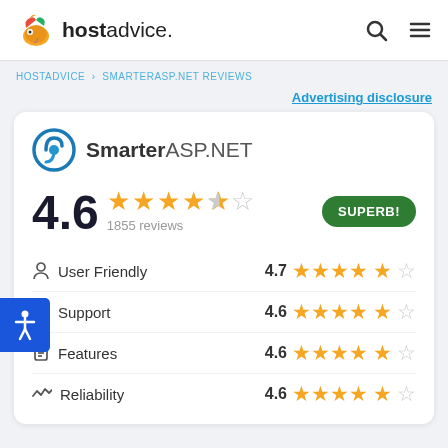[Figure (logo): HostAdvice logo with mascot bird and bold text 'hostadvice.']
Advertising disclosure
[Figure (logo): SmarterASP.NET logo with circular arrow icon]
4.6  1855 reviews  SUPERB!
User Friendly  4.7
Support  4.6
Features  4.6
Reliability  4.6